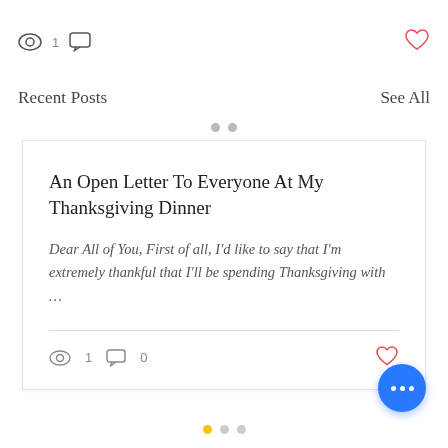[Figure (screenshot): Top bar with eye/view icon showing count 1, chat bubble icon, and heart icon on the right]
Recent Posts
See All
An Open Letter To Everyone At My Thanksgiving Dinner
Dear All of You, First of all, I'd like to say that I'm extremely thankful that I'll be spending Thanksgiving with …
[Figure (screenshot): Card footer with eye icon count 1, chat icon count 0, and heart icon]
[Figure (screenshot): Blue FAB button with three white dots]
[Figure (screenshot): Bottom navigation dots: yellow, gray, gray]